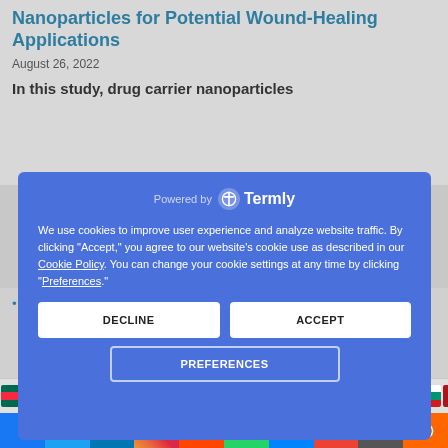Nanoparticles for Potential Wound-Healing Applications
August 26, 2022
In this study, drug carrier nanoparticles
[Figure (screenshot): Cookie consent modal powered by Termly with blue background, showing decline, accept, and preferences buttons]
Mucosal Delivery of Cannabidiol-Influencers
[Figure (infographic): Language selection flag bar with flags for Bangladesh, China, Taiwan, UK, France, Germany, India, Italy, Japan, Korea, Portugal, India, Bulgaria, Spain, Sweden, India and others]
[Figure (infographic): Social sharing bar with Facebook, Twitter, LinkedIn, Instagram, Reddit, WhatsApp, Messenger, Email, Print, and More buttons]